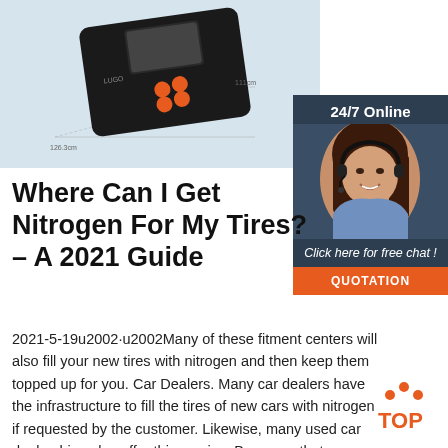[Figure (photo): Product photo of a black handheld electronic device with orange buttons on a light blue background with dimension lines]
[Figure (photo): Sidebar advertisement: 24/7 Online with photo of smiling woman with headset, Click here for free chat!, QUOTATION button]
Where Can I Get Nitrogen For My Tires? – A 2021 Guide
2021-5-19u2002·u2002Many of these fitment centers will also fill your new tires with nitrogen and then keep them topped up for you. Car Dealers. Many car dealers have the infrastructure to fill the tires of new cars with nitrogen if requested by the customer. Likewise, many used car dealerships also offer this service. Be aware that many ask for a fee to purge the ...
[Figure (logo): TOP badge with orange dots forming an arc above orange text TOP]